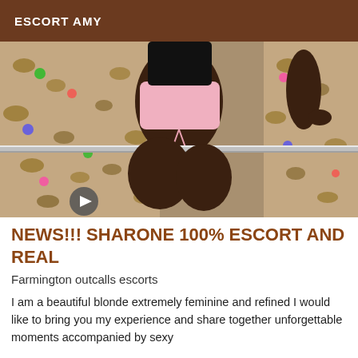ESCORT AMY
[Figure (photo): A woman wearing pink shorts and dark top photographed from behind, kneeling on leopard-print bedding near a railing, viewed from above.]
NEWS!!! SHARONE 100% ESCORT AND REAL
Farmington outcalls escorts
I am a beautiful blonde extremely feminine and refined I would like to bring you my experience and share together unforgettable moments accompanied by sexy